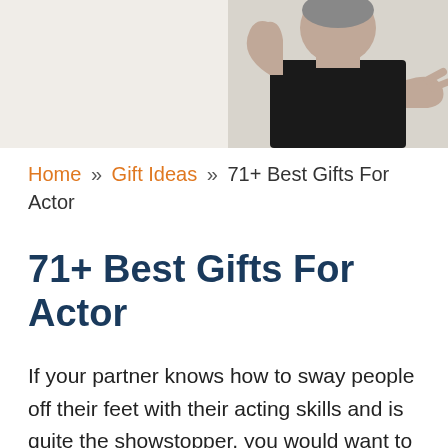[Figure (photo): Partial black-and-white photo of a person in a black top against a light beige background, cropped to show upper body region at top right of page]
Home » Gift Ideas » 71+ Best Gifts For Actor
71+ Best Gifts For Actor
If your partner knows how to sway people off their feet with their acting skills and is quite the showstopper, you would want to give them a gift that is as killer-cool and unique as them.